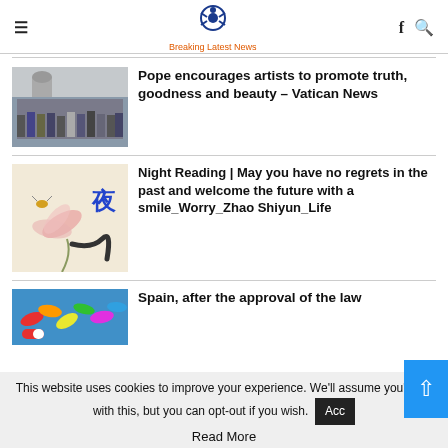Breaking Latest News
Pope encourages artists to promote truth, goodness and beauty – Vatican News
Night Reading | May you have no regrets in the past and welcome the future with a smile_Worry_Zhao Shiyun_Life
Spain, after the approval of the law
This website uses cookies to improve your experience. We'll assume you're ok with this, but you can opt-out if you wish.
Read More